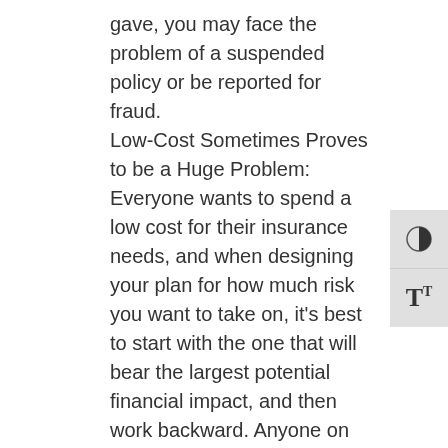gave, you may face the problem of a suspended policy or be reported for fraud. Low-Cost Sometimes Proves to be a Huge Problem: Everyone wants to spend a low cost for their insurance needs, and when designing your plan for how much risk you want to take on, it's best to start with the one that will bear the largest potential financial impact, and then work backward. Anyone on the hunt for insurance coverage is worried about spending time and money but opting for low-budget coverage could really hurt you in the end. It's also very important to pay attention to the fine print regarding insurance coverage, and all the various costs and regulations that are spelled out in a policy or notice. When Life Proves to Defy Drawn Out: When we are young and feel as if nothing can ever sink our